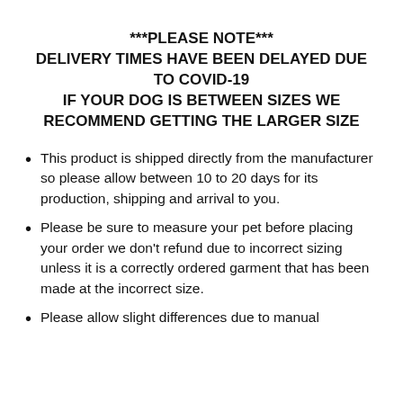***PLEASE NOTE***
DELIVERY TIMES HAVE BEEN DELAYED DUE TO COVID-19
IF YOUR DOG IS BETWEEN SIZES WE RECOMMEND GETTING THE LARGER SIZE
This product is shipped directly from the manufacturer so please allow between 10 to 20 days for its production, shipping and arrival to you.
Please be sure to measure your pet before placing your order we don't refund due to incorrect sizing unless it is a correctly ordered garment that has been made at the incorrect size.
Please allow slight differences due to manual